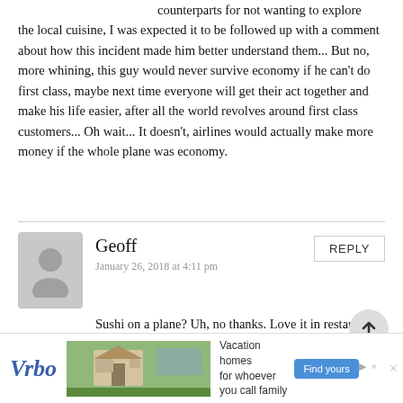counterparts for not wanting to explore the local cuisine, I was expected it to be followed up with a comment about how this incident made him better understand them... But no, more whining, this guy would never survive economy if he can't do first class, maybe next time everyone will get their act together and make his life easier, after all the world revolves around first class customers... Oh wait... It doesn't, airlines would actually make more money if the whole plane was economy.
Geoff
January 26, 2018 at 4:11 pm
Sushi on a plane? Uh, no thanks. Love it in restaurant but no thanks on a 747.
Lack
January 26, 2018 at 4:15 pm
[Figure (infographic): Vrbo advertisement banner: Vacation homes for whoever you call family. Find yours button.]